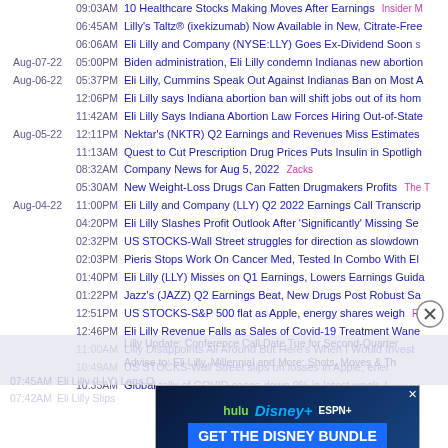09:03AM 10 Healthcare Stocks Making Moves After Earnings
06:45AM Lilly's Taltz® (ixekizumab) Now Available in New, Citrate-Free
06:06AM Eli Lilly and Company (NYSE:LLY) Goes Ex-Dividend Soon
Aug-07-22 05:00PM Biden administration, Eli Lilly condemn Indianas new abortion
Aug-06-22 05:37PM Eli Lilly, Cummins Speak Out Against Indianas Ban on Most A
12:06PM Eli Lilly says Indiana abortion ban will shift jobs out of its hom
11:42AM Eli Lilly Says Indiana Abortion Law Forces Hiring Out-of-State
Aug-05-22 12:11PM Nektar's (NKTR) Q2 Earnings and Revenues Miss Estimates
11:13AM Quest to Cut Prescription Drug Prices Puts Insulin in Spotligh
08:32AM Company News for Aug 5, 2022  Zacks
05:30AM New Weight-Loss Drugs Can Fatten Drugmakers Profits  The T
Aug-04-22 11:00PM Eli Lilly and Company (LLY) Q2 2022 Earnings Call Transcrip
04:20PM Eli Lilly Slashes Profit Outlook After 'Significantly' Missing Se
02:32PM US STOCKS-Wall Street struggles for direction as slowdown
02:03PM Pieris Stops Work On Cancer Med, Tested In Combo With El
01:40PM Eli Lilly (LLY) Misses on Q1 Earnings, Lowers Earnings Guida
01:22PM Jazz's (JAZZ) Q2 Earnings Beat, New Drugs Post Robust Sa
12:51PM US STOCKS-S&P 500 flat as Apple, energy shares weigh  Re
12:46PM Eli Lilly Revenue Falls as Sales of Covid-19 Treatment Wane
11:00AM Lilly Disappoints All Around But Here's When I Would Invest
10:49AM US STOCKS-Wall Street slips on losses in Apple, energy
10:33AM Global tally of COVID cases down 9% in latest week, L
[Figure (infographic): Disney Bundle advertisement banner with Hulu, Disney+, ESPN+ logos and 'GET THE DISNEY BUNDLE' call to action button]